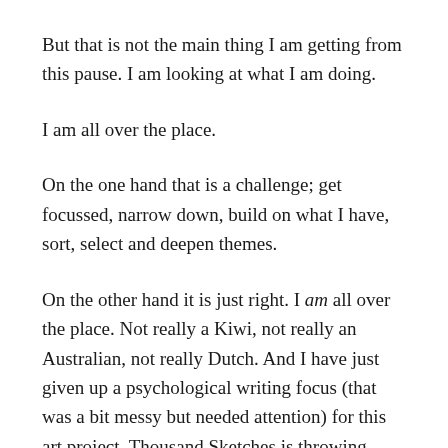But that is not the main thing I am getting from this pause. I am looking at what I am doing.
I am all over the place.
On the one hand that is a challenge; get focussed, narrow down, build on what I have, sort, select and deepen themes.
On the other hand it is just right. I am all over the place. Not really a Kiwi, not really an Australian, not really Dutch. And I have just given up a psychological writing focus (that was a bit messy but needed attention) for this art project. Thousand Sketches is throwing everything I am doing into